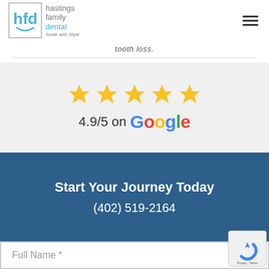[Figure (logo): Hastings Family Dental logo with hfd icon in a box and text 'hastings family dental' with tagline 'Smile with Style']
tooth loss.
[Figure (infographic): 5 golden stars rating with text '4.9/5 on Google' on light gray background]
Start Your Journey Today
(402) 519-2164
Full Name *